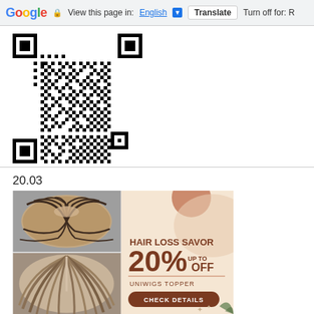Google | View this page in: English | Translate | Turn off for: R
[Figure (other): QR code - black and white square QR code]
20.03
[Figure (other): Hair loss advertisement showing before/after hair photos on the left and promotional text on the right: HAIR LOSS SAVOR, 20% UP TO OFF, UNIWIGS TOPPER, CHECK DETAILS button]